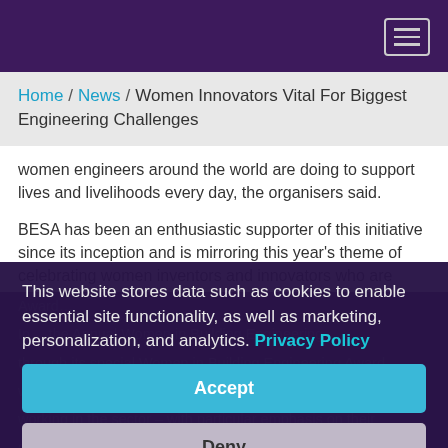Home / News / Women Innovators Vital For Biggest Engineering Challenges
women engineers around the world are doing to support lives and livelihoods every day, the organisers said.
BESA has been an enthusiastic supporter of this initiative since its inception and is mirroring this year’s theme of celebrating women inventors and innovators who are helping to build towards a brighter future in its own activities
This website stores data such as cookies to enable essential site functionality, as well as marketing, personalization, and analytics. Privacy Policy
Accept
Deny